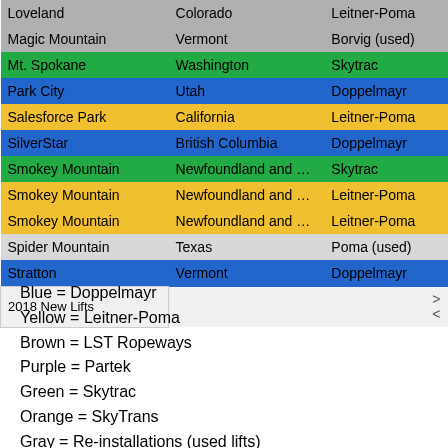| Resort | State/Province | Manufacturer |
| --- | --- | --- |
| Loveland | Colorado | Leitner-Poma |
| Magic Mountain | Vermont | Borvig (used) |
| Mt. Spokane | Washington | Skytrac |
| Park City | Utah | Doppelmayr |
| Salesforce Park | California | Leitner-Poma |
| SilverStar | British Columbia | Doppelmayr |
| Smokey Mountain | Newfoundland and Labrad | Skytrac |
| Smokey Mountain | Newfoundland and Labrad | Leitner-Poma |
| Smokey Mountain | Newfoundland and Labrad | Leitner-Poma |
| Spider Mountain | Texas | Poma (used) |
| Stratton | Vermont | Doppelmayr |
Blue = Doppelmayr
Yellow = Leitner-Poma
Brown = LST Ropeways
Purple = Partek
Green = Skytrac
Orange = SkyTrans
Gray = Re-installations (used lifts)